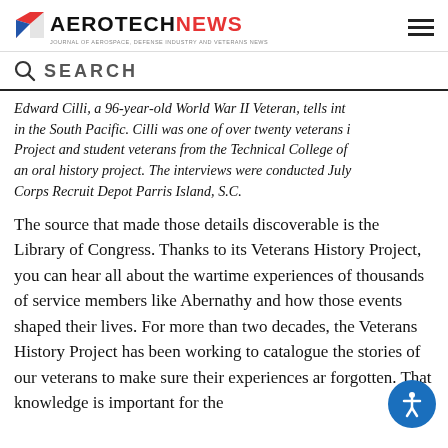AEROTECHNEWS - JOURNAL OF AEROSPACE, DEFENSE INDUSTRY AND VETERANS NEWS
SEARCH
Edward Cilli, a 96-year-old World War II Veteran, tells int in the South Pacific. Cilli was one of over twenty veterans i Project and student veterans from the Technical College of an oral history project. The interviews were conducted July Corps Recruit Depot Parris Island, S.C.
The source that made those details discoverable is the Library of Congress. Thanks to its Veterans History Project, you can hear all about the wartime experiences of thousands of service members like Abernathy and how those events shaped their lives. For more than two decades, the Veterans History Project has been working to catalogue the stories of our veterans to make sure their experiences ar forgotten. That knowledge is important for the